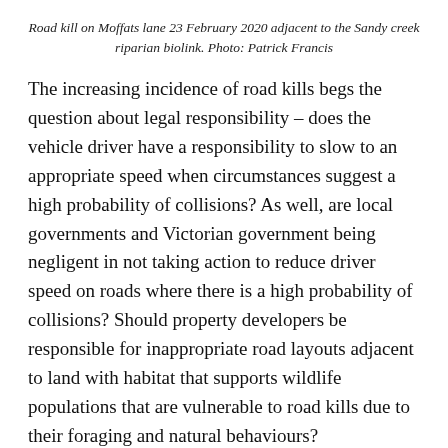Road kill on Moffats lane 23 February 2020 adjacent to the Sandy creek riparian biolink. Photo: Patrick Francis
The increasing incidence of road kills begs the question about legal responsibility – does the vehicle driver have a responsibility to slow to an appropriate speed when circumstances suggest a high probability of collisions? As well, are local governments and Victorian government being negligent in not taking action to reduce driver speed on roads where there is a high probability of collisions? Should property developers be responsible for inappropriate road layouts adjacent to land with habitat that supports wildlife populations that are vulnerable to road kills due to their foraging and natural behaviours?
Landholders and farmers are not allowed to kill native animals such as koalas, echidnas, reptiles,